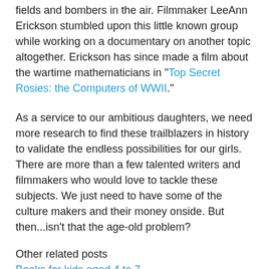fields and bombers in the air. Filmmaker LeeAnn Erickson stumbled upon this little known group while working on a documentary on another topic altogether. Erickson has since made a film about the wartime mathematicians in "Top Secret Rosies: the Computers of WWII."
As a service to our ambitious daughters, we need more research to find these trailblazers in history to validate the endless possibilities for our girls. There are more than a few talented writers and filmmakers who would love to tackle these subjects. We just need to have some of the culture makers and their money onside. But then...isn't that the age-old problem?
Other related posts
Books for kids aged 4 to 7
50 Poisonous Questions by Tanya Lloyd Kyi
The Trouble with Marlene by Billie Livingston
The Orphan Rescue by Anne Dublin
Dead Time by Christy Ann Conlin